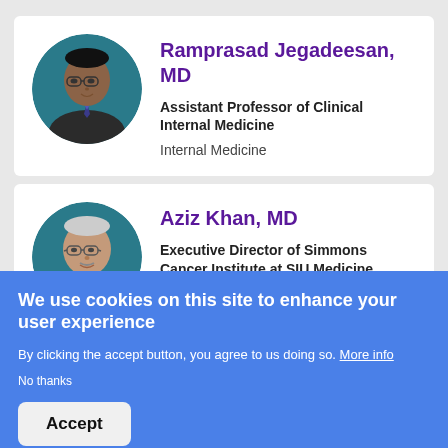[Figure (photo): Circular headshot of Dr. Ramprasad Jegadeesan, a man with glasses in a suit against a teal background]
Ramprasad Jegadeesan, MD
Assistant Professor of Clinical Internal Medicine
Internal Medicine
[Figure (photo): Circular headshot of Dr. Aziz Khan, an older man with glasses against a teal background]
Aziz Khan, MD
Executive Director of Simmons Cancer Institute at SIU Medicine, Professor
We use cookies on this site to enhance your user experience
By clicking the accept button, you agree to us doing so. More info
No thanks
Accept